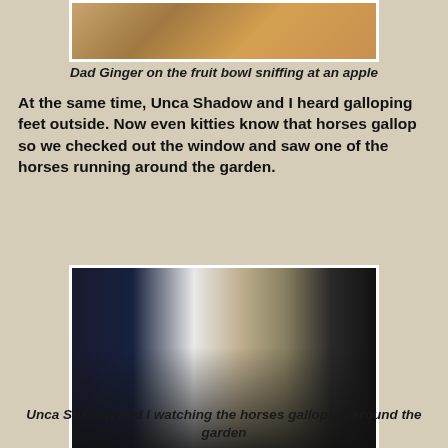[Figure (photo): Photo of Dad Ginger cat on a fruit bowl sniffing at an apple, partially visible at top of page]
Dad Ginger on the fruit bowl sniffing at an apple
At the same time, Unca Shadow and I heard galloping feet outside. Now even kitties know that horses gallop so we checked out the window and saw one of the horses running around the garden.
[Figure (photo): Two cats silhouetted looking out a window, watching horses galloping around the garden]
Unca Shadow and I watching the horses galloping around the garden